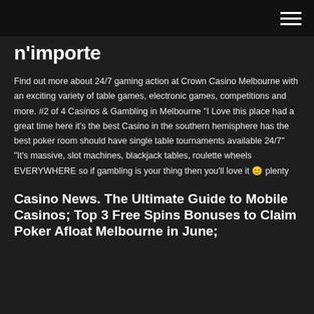n'importe
Find out more about 24/7 gaming action at Crown Casino Melbourne with an exciting variety of table games, electronic games, competitions and more. #2 of 4 Casinos & Gambling in Melbourne "I Love this place had a great time here it's the best Casino in the southern hemisphere has the best poker room should have single table tournaments available 24/7" "It's massive, slot machines, blackjack tables, roulette wheels EVERYWHERE so if gambling is your thing then you'll love it 😊 plenty
Casino News. The Ultimate Guide to Mobile Casinos; Top 3 Free Spins Bonuses to Claim Poker Afloat Melbourne in June;